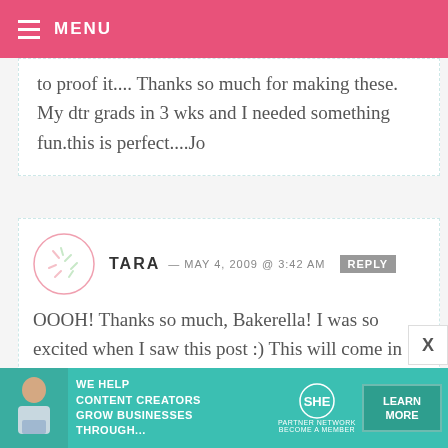MENU
to proof it.... Thanks so much for making these. My dtr grads in 3 wks and I needed something fun.this is perfect....Jo
TARA — MAY 4, 2009 @ 3:42 AM  REPLY
OOOH! Thanks so much, Bakerella! I was so excited when I saw this post :) This will come in so handy at my brother's grad party in a few weeks :)
[Figure (infographic): SHE Media Partner Network advertisement banner with woman at laptop, text: WE HELP CONTENT CREATORS GROW BUSINESSES THROUGH... with SHE logo and LEARN MORE button]